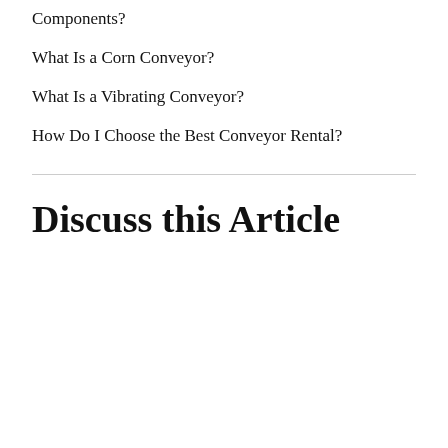Components?
What Is a Corn Conveyor?
What Is a Vibrating Conveyor?
How Do I Choose the Best Conveyor Rental?
Discuss this Article